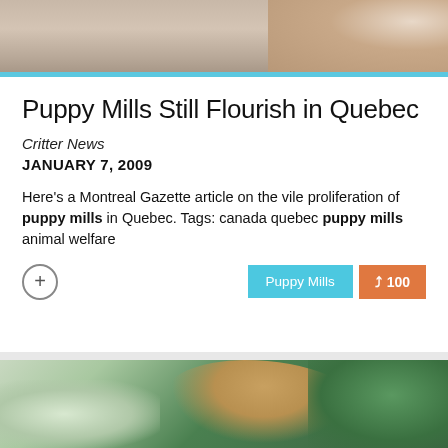[Figure (photo): Partial photo at top of page, cropped, showing warm tones — appears to be an animal or close-up scene]
Puppy Mills Still Flourish in Quebec
Critter News
JANUARY 7, 2009
Here's a Montreal Gazette article on the vile proliferation of puppy mills in Quebec. Tags: canada quebec puppy mills animal welfare
[Figure (photo): Photo of a bearded man with glasses, looking down, with green plants in background]